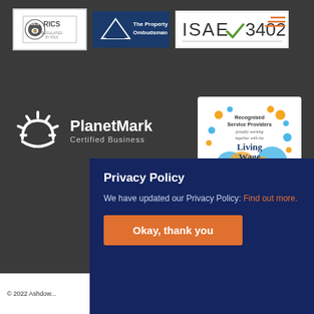[Figure (logo): RICS logo - white background with RICS text and lion emblem]
[Figure (logo): The Property Ombudsman logo - dark blue background with triangle and text]
[Figure (logo): ISAE 3402 logo - white background with checkmark]
[Figure (logo): PlanetMark Certified Business logo - white sun arc icon with text]
[Figure (logo): Living Wage Foundation - Recognised Service Providers proudly working together with the Living Wage Foundation]
Privacy Policy
We have updated our Privacy Policy: Find out more.
Okay, thank you
© 2022 Ashdow...